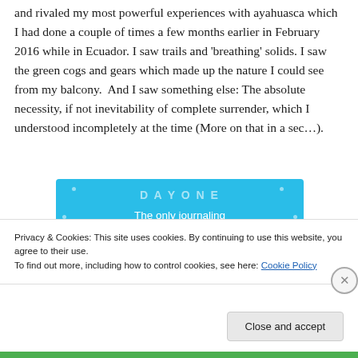and rivaled my most powerful experiences with ayahuasca which I had done a couple of times a few months earlier in February 2016 while in Ecuador. I saw trails and ‘breathing’ solids. I saw the green cogs and gears which made up the nature I could see from my balcony.  And I saw something else: The absolute necessity, if not inevitability of complete surrender, which I understood incompletely at the time (More on that in a sec…).
[Figure (screenshot): Blue advertisement banner for a journaling app with text 'The only journaling app you’ll ever need.']
Privacy & Cookies: This site uses cookies. By continuing to use this website, you agree to their use.
To find out more, including how to control cookies, see here: Cookie Policy
Close and accept